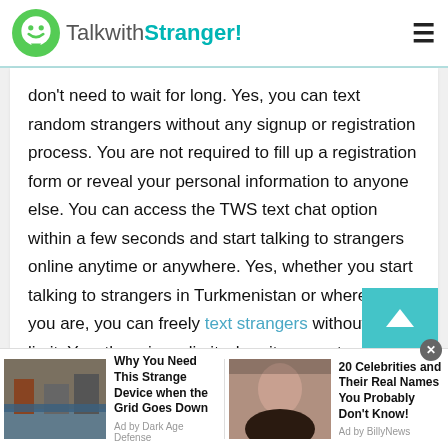TalkwithStranger!
don't need to wait for long. Yes, you can text random strangers without any signup or registration process. You are not required to fill up a registration form or reveal your personal information to anyone else. You can access the TWS text chat option within a few seconds and start talking to strangers online anytime or anywhere. Yes, whether you start talking to strangers in Turkmenistan or wherever you are, you can freely text strangers without any limit. Yes, there is no limit when it comes to sending a text to random strangers.
[Figure (screenshot): Advertisement: Why You Need This Strange Device when the Grid Goes Down. Ad by Dark Age Defense]
[Figure (screenshot): Advertisement: 20 Celebrities and Their Real Names You Probably Don't Know! Ad by BillyNews]